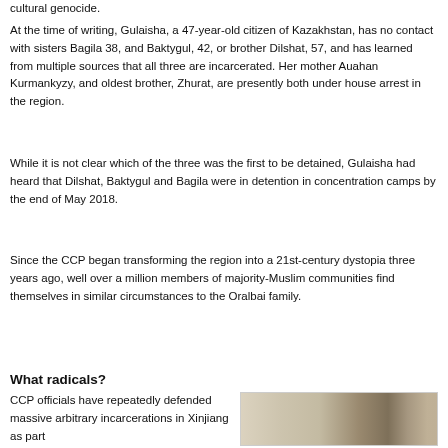cultural genocide.
At the time of writing, Gulaisha, a 47-year-old citizen of Kazakhstan, has no contact with sisters Bagila 38, and Baktygul, 42, or brother Dilshat, 57, and has learned from multiple sources that all three are incarcerated. Her mother Auahan Kurmankyzy, and oldest brother, Zhurat, are presently both under house arrest in the region.
While it is not clear which of the three was the first to be detained, Gulaisha had heard that Dilshat, Baktygul and Bagila were in detention in concentration camps by the end of May 2018.
Since the CCP began transforming the region into a 21st-century dystopia three years ago, well over a million members of majority-Muslim communities find themselves in similar circumstances to the Oralbai family.
What radicals?
CCP officials have repeatedly defended massive arbitrary incarcerations in Xinjiang as part
[Figure (photo): Partial image visible at the bottom right of the page, showing what appears to be a muted tan/brown toned photograph or image, partially cropped.]